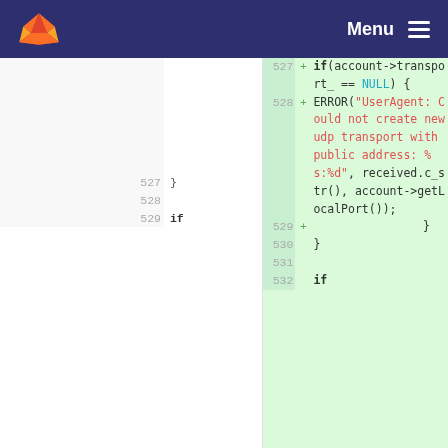[Figure (screenshot): GitLab navigation bar with logo and Menu button]
Code diff view showing lines 527-532. Left pane (old): line 527 '}', line 528 empty, line 529 'if'. Right pane (new, added): line 527 'if(account->transport_ == NULL) {', line 528 'ERROR("UserAgent: Could not create new udp transport with public address: %s:%d", received.c_str(), account->getLocalPort());', line 529 '}', line 530 '}', line 531 empty, line 532 'if'